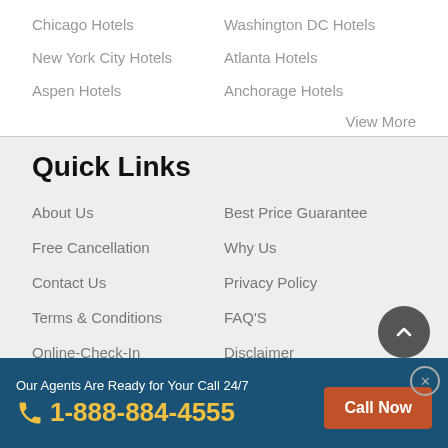Chicago Hotels
Washington DC Hotels
New York City Hotels
Atlanta Hotels
Aspen Hotels
Anchorage Hotels
View More
Quick Links
About Us
Best Price Guarantee
Free Cancellation
Why Us
Contact Us
Privacy Policy
Terms & Conditions
FAQ'S
Online-Check-In
Disclaimer
Airline Baggage Fees
Deals
Our Agents Are Ready for Your Call 24/7
1-888-884-4555
Call Now